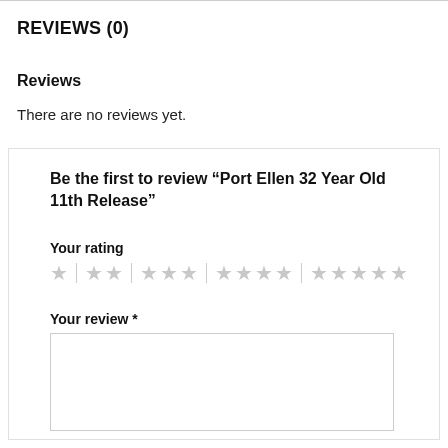REVIEWS (0)
Reviews
There are no reviews yet.
Be the first to review “Port Ellen 32 Year Old 11th Release”
Your rating
[Figure (other): Star rating selector with 5 groups of stars (1 star, 2 stars, 3 stars, 4 stars, 5 stars) separated by vertical dividers, all in light grey color]
Your review *
[empty text area]